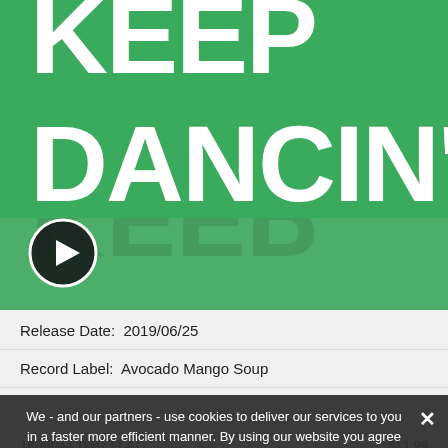[Figure (illustration): Album art for 'Keep Dancin'' showing large white bold text 'KEEP DANCIN'' on a green background with a mirror reflection effect below, and a play button in the lower left corner.]
Release Date:  2019/06/25
Record Label:  Avocado Mango Soup
We - and our partners - use cookies to deliver our services to you in a faster more efficient manner. By using our website you agree to the use of cookies as described in our Cookie Policy.
16-bit/44.1kHz FLAC    $11.99